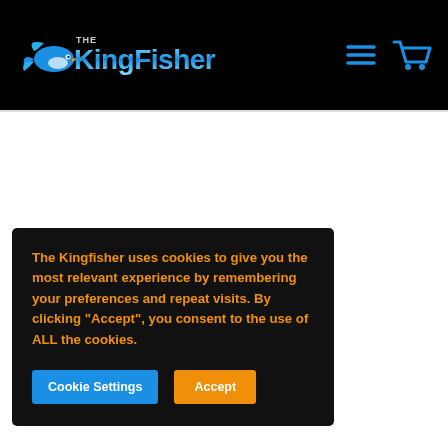[Figure (logo): The Kingfisher logo with a kingfisher bird graphic and stylized text reading 'THE KingFisher' in blue/white tones on black background]
[Figure (infographic): Hamburger menu icon (three horizontal lines) and shopping cart icon in blue on black background]
The Kingfisher uses cookies to give you the most relevant experience by remembering your preferences and repeat visits. By clicking "Accept", you consent to the use of ALL the cookies.
Cookie Settings
Accept